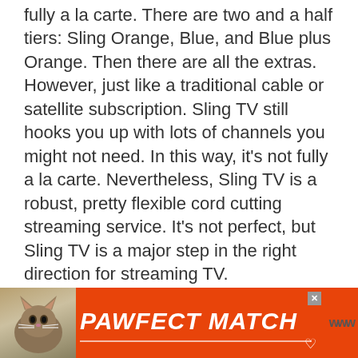fully a la carte. There are two and a half tiers: Sling Orange, Blue, and Blue plus Orange. Then there are all the extras. However, just like a traditional cable or satellite subscription. Sling TV still hooks you up with lots of channels you might not need. In this way, it's not fully a la carte. Nevertheless, Sling TV is a robust, pretty flexible cord cutting streaming service. It's not perfect, but Sling TV is a major step in the right direction for streaming TV.

With the likes of Plex DVR and live TV support, as well as Android TV DVR functionality, cord cutting continues to [improve].
[Figure (other): Advertisement banner for 'PAWFECT MATCH' featuring a cat photo on the left, bold italic white text on orange background, a close button (X), heart icon, and logo marks on the right.]